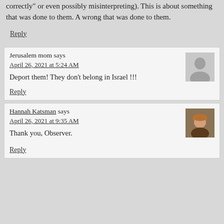correctly" or even possibly misinterpreting). This is about something that was done to them. A wrong that was done to them.
Reply
Jerusalem mom says
April 26, 2021 at 5:24 AM
Deport them! They don't belong in Israel !!!
Reply
Hannah Katsman says
April 26, 2021 at 9:35 AM
Thank you, Observer.
Reply